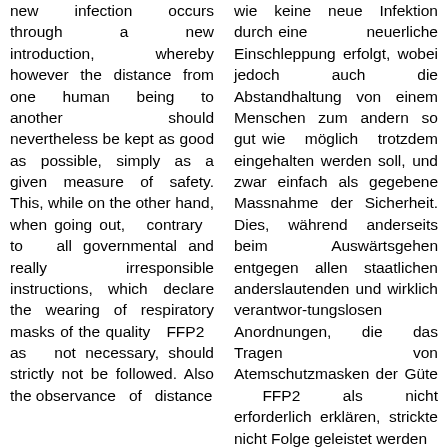new infection occurs through a new introduction, whereby however the distance from one human being to another should nevertheless be kept as good as possible, simply as a given measure of safety. This, while on the other hand, when going out, contrary to all governmental and really irresponsible instructions, which declare the wearing of respiratory masks of the quality FFP2 as not necessary, should strictly not be followed. Also the observance of distance
wie keine neue Infektion durch eine neuerliche Einschleppung erfolgt, wobei jedoch auch die Abstandhaltung von einem Menschen zum andern so gut wie möglich trotzdem eingehalten werden soll, und zwar einfach als gegebene Massnahme der Sicherheit. Dies, während anderseits beim Auswärtsgehen entgegen allen staatlichen anderslautenden und wirklich verantwor-tungslosen Anordnungen, die das Tragen von Atemschutzmasken der Güte FFP2 als nicht erforderlich erklären, strickte nicht Folge geleistet werden soll. Auch das Einhalten d